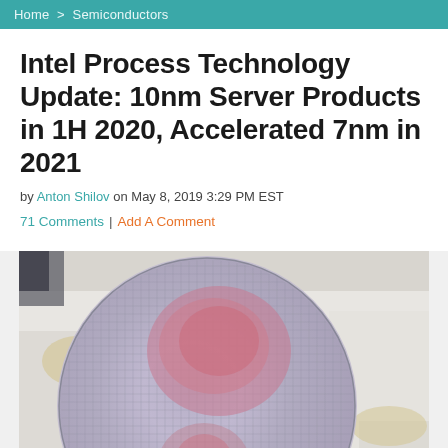Home > Semiconductors
Intel Process Technology Update: 10nm Server Products in 1H 2020, Accelerated 7nm in 2021
by Anton Shilov on May 8, 2019 3:29 PM EST
71 Comments | Add A Comment
[Figure (photo): A person in a white cleanroom suit holding a semiconductor wafer with a circular pattern of chips visible, showing iridescent colors]